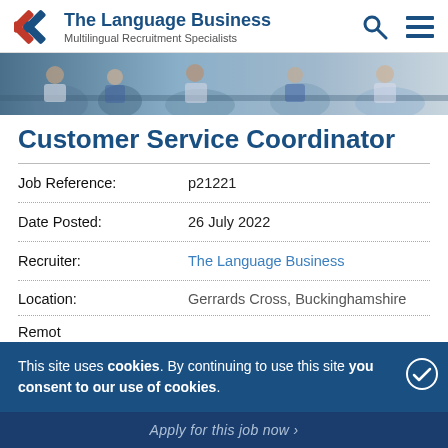The Language Business — Multilingual Recruitment Specialists
[Figure (photo): Banner photo showing people in a business meeting around a table, reviewing documents.]
Customer Service Coordinator
| Job Reference: | p21221 |
| Date Posted: | 26 July 2022 |
| Recruiter: | The Language Business |
| Location: | Gerrards Cross, Buckinghamshire |
| Remote: |  |
This site uses cookies. By continuing to use this site you consent to our use of cookies.
Apply for this job now ›